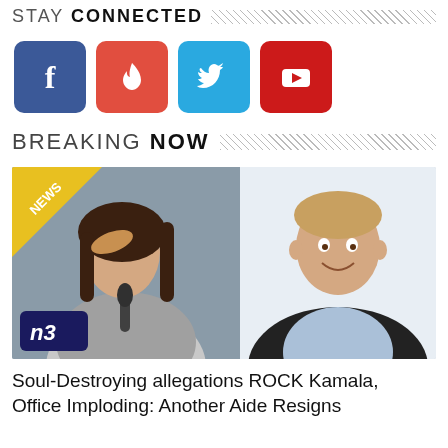STAY CONNECTED
[Figure (illustration): Four social media icons: Facebook (blue), Tinder (red with flame), Twitter (light blue), YouTube (red with play button)]
BREAKING NOW
[Figure (photo): Composite image: left side shows a woman holding a microphone with hand on forehead, NEWS badge in top-left corner, NB logo in bottom-left; right side shows a smiling man in a dark suit]
Soul-Destroying allegations ROCK Kamala, Office Imploding: Another Aide Resigns